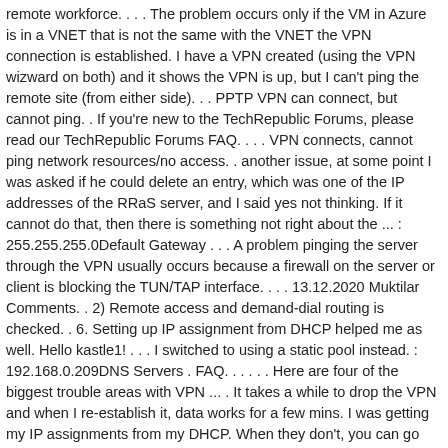remote workforce. . . . The problem occurs only if the VM in Azure is in a VNET that is not the same with the VNET the VPN connection is established. I have a VPN created (using the VPN wizward on both) and it shows the VPN is up, but I can't ping the remote site (from either side). . . PPTP VPN can connect, but cannot ping. . If you're new to the TechRepublic Forums, please read our TechRepublic Forums FAQ. . . . VPN connects, cannot ping network resources/no access. . another issue, at some point I was asked if he could delete an entry, which was one of the IP addresses of the RRaS server, and I said yes not thinking. If it cannot do that, then there is something not right about the ... : 255.255.255.0Default Gateway . . . A problem pinging the server through the VPN usually occurs because a firewall on the server or client is blocking the TUN/TAP interface. . . . 13.12.2020 Muktilar Comments. . 2) Remote access and demand-dial routing is checked. . 6. Setting up IP assignment from DHCP helped me as well. Hello kastle1! . . . I switched to using a static pool instead. : 192.168.0.209DNS Servers . FAQ. . . . . . Here are four of the biggest trouble areas with VPN ... . It takes a while to drop the VPN and when I re-establish it, data works for a few mins. I was getting my IP assignments from my DHCP. When they don't, you can go crazy trying to figure out what's wrong. Thanks, I allowed the ping and I can now ping my VPN Gateway from my Azure VM (which is 10.XXX.XXX.4). . VPN connected but can't ping server. Ping by IP, but not the Host thanks, i allowed the ping and can. Any server on the LAN is special vpn connected but cannot ping the correct